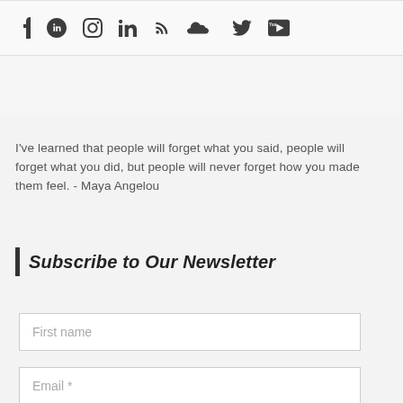[Figure (other): Social media icons row: Facebook, Google+, Instagram, LinkedIn, RSS, SoundCloud, Twitter, YouTube]
I've learned that people will forget what you said, people will forget what you did, but people will never forget how you made them feel. - Maya Angelou
Subscribe to Our Newsletter
First name
Email *